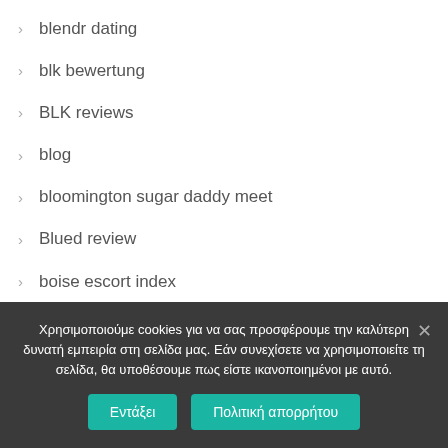blendr dating
blk bewertung
BLK reviews
blog
bloomington sugar daddy meet
Blued review
boise escort index
boise what is an escort
bondage com de review
Χρησιμοποιούμε cookies για να σας προσφέρουμε την καλύτερη δυνατή εμπειρία στη σελίδα μας. Εάν συνεχίσετε να χρησιμοποιείτε τη σελίδα, θα υποθέσουμε πως είστε ικανοποιημένοι με αυτό.
Εντάξει | Πολιτική απορρήτου